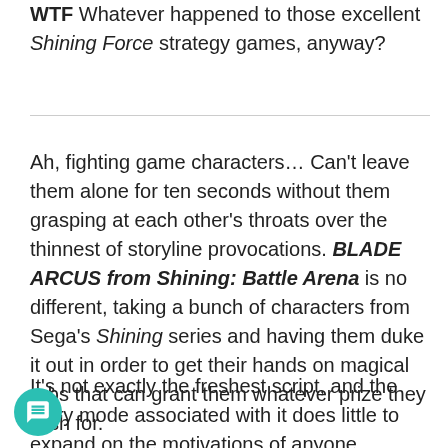WTF Whatever happened to those excellent Shining Force strategy games, anyway?
Ah, fighting game characters… Can't leave them alone for ten seconds without them grasping at each other's throats over the thinnest of storyline provocations. BLADE ARCUS from Shining: Battle Arena is no different, taking a bunch of characters from Sega's Shining series and having them duke it out in order to get their hands on magical orbs that can grant them whatever prize they wish for.
It's not exactly the freshest script, and the story mode associated with it does little to expand on the motivations of anyone involved. Players simply choose a character,